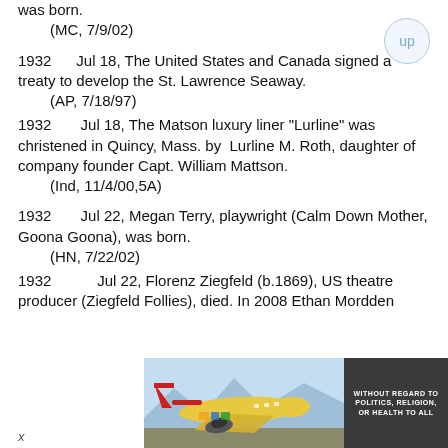was born.
    (MC, 7/9/02)
1932      Jul 18, The United States and Canada signed a treaty to develop the St. Lawrence Seaway.
    (AP, 7/18/97)
1932       Jul 18, The Matson luxury liner "Lurline" was christened in Quincy, Mass. by  Lurline M. Roth, daughter of company founder Capt. William Mattson.
    (Ind, 11/4/00,5A)
1932       Jul 22, Megan Terry, playwright (Calm Down Mother, Goona Goona), was born.
    (HN, 7/22/02)
1932           Jul 22, Florenz Ziegfeld (b.1869), US theatre producer (Ziegfeld Follies), died. In 2008 Ethan Mordden
[Figure (photo): Advertisement showing a cargo airplane being loaded, with text 'WITHOUT REGARD TO POLITICS, RELIGION, OR HEALTH TO ALL']
x